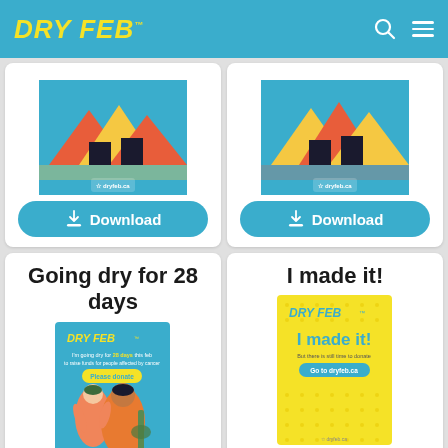DRY FEB
[Figure (screenshot): Dry February promotional image with colourful tent/festival illustration on blue background, with a Download button below]
[Figure (screenshot): Dry February promotional image with colourful tent/festival illustration on blue background, with a Download button below]
Going dry for 28 days
[Figure (illustration): Dry Feb poster - Going dry for 28 days this feb - Please donate - with illustrated characters on blue/green background]
I made it!
[Figure (illustration): Dry Feb yellow poster - I made it! But there is still time to donate - Go to dryfeb.ca]